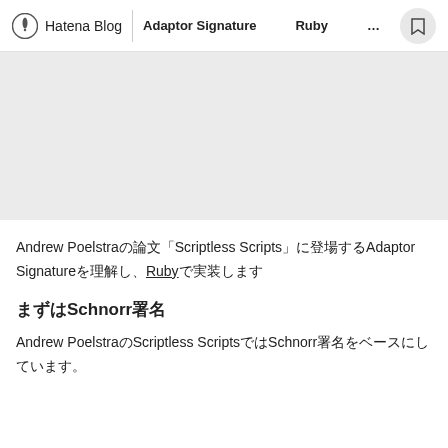Hatena Blog | Adaptor Signature󠄀󠄀󠄀Ruby󠄀󠄀󠄀󠄀󠄀󠄀
[Figure (other): Gray placeholder banner image area]
Andrew Poelstra󠄀󠄀󠄀󠄀󠄀Scriptless Scripts󠄀󠄀󠄀󠄀󠄀󠄀󠄀󠄀Adaptor Signature󠄀󠄀󠄀󠄀󠄀󠄀󠄀󠄀󠄀󠄀󠄀Ruby󠄀󠄀󠄀󠄀󠄀󠄀󠄀
󠄀󠄀󠄀󠄀󠄀Schnorr󠄀󠄀
Andrew PoelstraScriptless ScriptsSchnorr󠄀󠄀󠄀󠄀󠄀󠄀󠄀󠄀󠄀󠄀󠄀󠄀󠄀󠄀